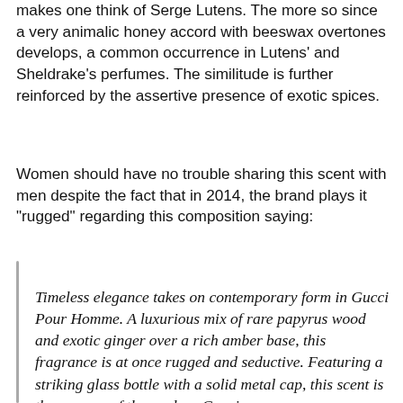makes one think of Serge Lutens. The more so since a very animalic honey accord with beeswax overtones develops, a common occurrence in Lutens' and Sheldrake's perfumes. The similitude is further reinforced by the assertive presence of exotic spices.
Women should have no trouble sharing this scent with men despite the fact that in 2014, the brand plays it "rugged" regarding this composition saying:
Timeless elegance takes on contemporary form in Gucci Pour Homme. A luxurious mix of rare papyrus wood and exotic ginger over a rich amber base, this fragrance is at once rugged and seductive. Featuring a striking glass bottle with a solid metal cap, this scent is the essence of the modern Gucci man.